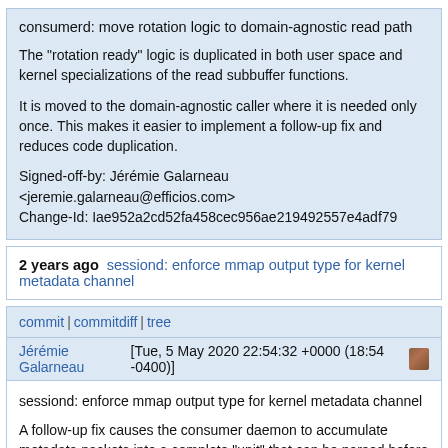consumerd: move rotation logic to domain-agnostic read path
The "rotation ready" logic is duplicated in both user space and kernel specializations of the read subbuffer functions.
It is moved to the domain-agnostic caller where it is needed only once. This makes it easier to implement a follow-up fix and reduces code duplication.
Signed-off-by: Jérémie Galarneau <jeremie.galarneau@efficios.com>
Change-Id: Iae952a2cd52fa458cec956ae219492557e4adf79
2 years ago   sessiond: enforce mmap output type for kernel metadata channel
commit | commitdiff | tree
Jérémie Galarneau [Tue, 5 May 2020 22:54:32 +0000 (18:54 -0400)]
sessiond: enforce mmap output type for kernel metadata channel
A follow-up fix causes the consumer daemon to accumulate metadata packets into a complete "unit" that can be parsed before sending it to the relay daemon.